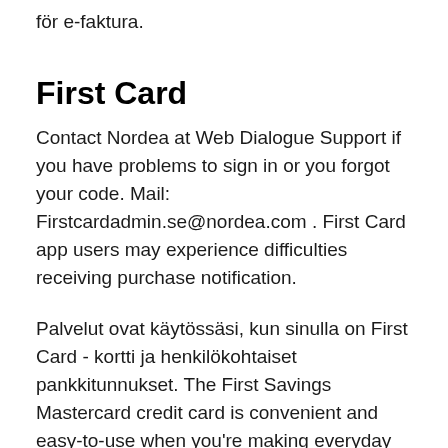för e-faktura.
First Card
Contact Nordea at Web Dialogue Support if you have problems to sign in or you forgot your code. Mail: Firstcardadmin.se@nordea.com . First Card app users may experience difficulties receiving purchase notification.
Palvelut ovat käytössäsi, kun sinulla on First Card - kortti ja henkilökohtaiset pankkitunnukset. The First Savings Mastercard credit card is convenient and easy-to-use when you're making everyday purchases, shopping online, or dining out. Accept a mail offer, or login to manage your account. Nordea is the biggest bank in the Nordic region. We offer a